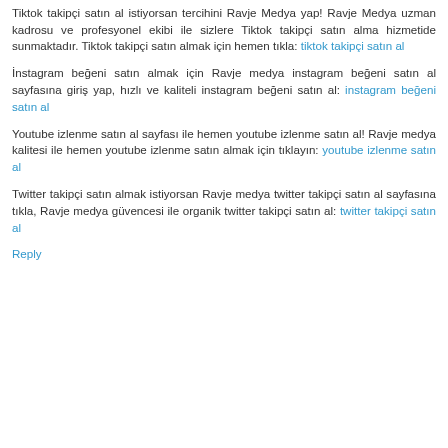almak için Ravje Medyanın ilgili sayfasını ziyaret et: instagram takipçi satın al
Tiktok takipçi satın al istiyorsan tercihini Ravje Medya yap! Ravje Medya uzman kadrosu ve profesyonel ekibi ile sizlere Tiktok takipçi satın alma hizmetide sunmaktadır. Tiktok takipçi satın almak için hemen tıkla: tiktok takipçi satın al
İnstagram beğeni satın almak için Ravje medya instagram beğeni satın al sayfasına giriş yap, hızlı ve kaliteli instagram beğeni satın al: instagram beğeni satın al
Youtube izlenme satın al sayfası ile hemen youtube izlenme satın al! Ravje medya kalitesi ile hemen youtube izlenme satın almak için tıklayın: youtube izlenme satın al
Twitter takipçi satın almak istiyorsan Ravje medya twitter takipçi satın al sayfasına tıkla, Ravje medya güvencesi ile organik twitter takipçi satın al: twitter takipçi satın al
Reply